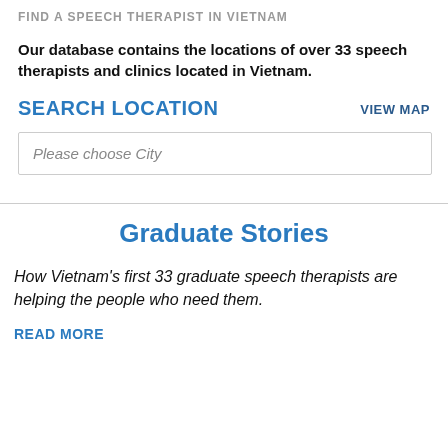FIND A SPEECH THERAPIST IN VIETNAM
Our database contains the locations of over 33 speech therapists and clinics located in Vietnam.
SEARCH LOCATION
VIEW MAP
Please choose City
Graduate Stories
How Vietnam's first 33 graduate speech therapists are helping the people who need them.
READ MORE